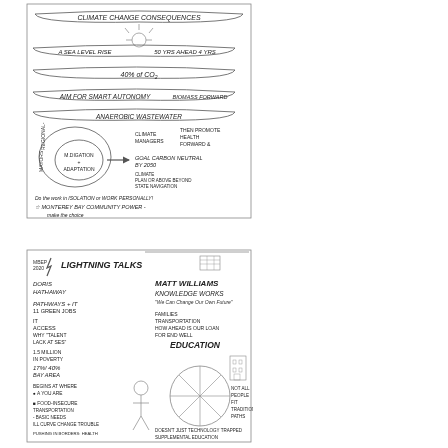[Figure (illustration): Hand-drawn sketchnote about Climate Change Consequences. Contains illustrated banners and notes: 'CLIMATE CHANGE CONSEQUENCES', 'Sea Level Rise', '50 Yrs Ahead 4 Yrs', '40% of CO2', 'AIM FOR SMART AUTONOMY', 'ANAEROBIC WASTEWATER', 'REGIONAL MAYORS', 'MITIGATION + ADAPTATION', 'CLIMATE MANAGERS', 'THEN PROMOTE HEALTH', 'GOAL CARBON NEUTRAL BY 2050', 'CLIMATE PLAN OR ABOVE BEYOND STATE NAVIGATION', 'Do the work in isolation or work personally!', 'MONTEREY BAY COMMUNITY POWER - make the choice']
[Figure (illustration): Hand-drawn sketchnote labeled 'MBEP 2020 LIGHTNING TALKS'. Contains two speaker sections: 'DORIS HATHAWAY - PATHWAYS + IT, 11 GREEN JOBS, IT ACCESS, WHY TALENT LACK AT SES, 1.5M JOBS IN POVERTY, 17%! 40% BAY AREA, BEGINS AT WHERE YOU ARE, FOOD INSECURE, TRANSPORTATION, BASIC NEEDS, ILL CURVE CHANGE TROUBLE, PUSHING IN BORDERS: HEALTH CLIMATE TO BOLSTER PATHWAY, THEN TO SUPERINTENDENT EDUCATION' and 'MATT WILLIAMS - KNOWLEDGE WORKS: We Can Change Our Own Future, FAMILIES TRANSPORTATION, HOW AHEAD IS OUR LOAN FOR END WELL, EDUCATION, NOT ALL PEOPLE FIT TRADITIONAL PATHS, DOESN'T JUST TECHNOLOGY TRAPPED, SUPPLEMENTAL EDUCATION']